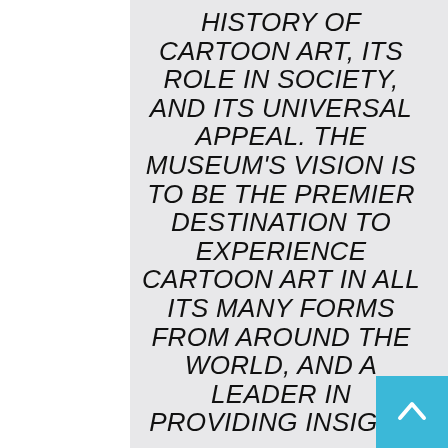HISTORY OF CARTOON ART, ITS ROLE IN SOCIETY, AND ITS UNIVERSAL APPEAL. THE MUSEUM'S VISION IS TO BE THE PREMIER DESTINATION TO EXPERIENCE CARTOON ART IN ALL ITS MANY FORMS FROM AROUND THE WORLD, AND A LEADER IN PROVIDING INSIGHT